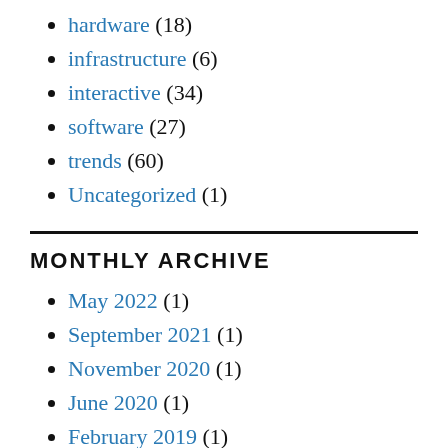hardware (18)
infrastructure (6)
interactive (34)
software (27)
trends (60)
Uncategorized (1)
MONTHLY ARCHIVE
May 2022 (1)
September 2021 (1)
November 2020 (1)
June 2020 (1)
February 2019 (1)
August 2018 (1)